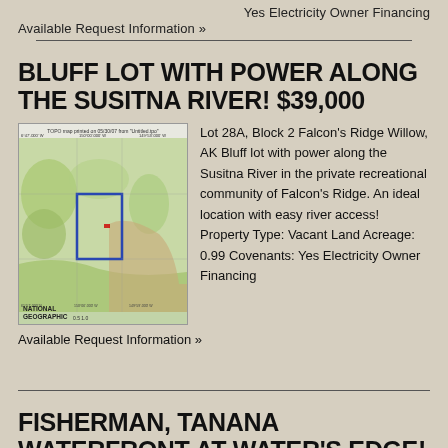Yes Electricity Owner Financing
Available Request Information »
BLUFF LOT WITH POWER ALONG THE SUSITNA RIVER! $39,000
[Figure (map): TOPO map showing Lot 28A Block 2 Falcon's Ridge near Susitna River, National Geographic map printed 05/30/07]
Lot 28A, Block 2 Falcon's Ridge Willow, AK Bluff lot with power along the Susitna River in the private recreational community of Falcon's Ridge. An ideal location with easy river access! Property Type: Vacant Land Acreage: 0.99 Covenants: Yes Electricity Owner Financing
Available Request Information »
FISHERMAN, TANANA WATERFRONT AT WATER'S EDGE! $26,000